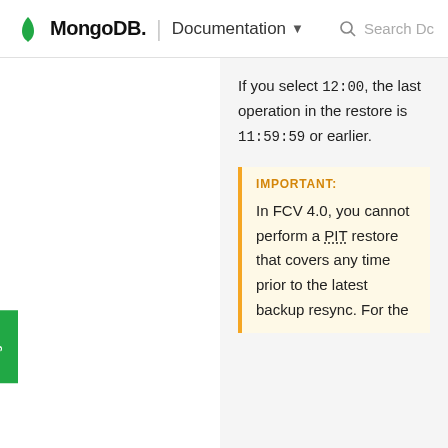MongoDB | Documentation
If you select 12:00, the last operation in the restore is 11:59:59 or earlier.
IMPORTANT: In FCV 4.0, you cannot perform a PIT restore that covers any time prior to the latest backup resync. For the